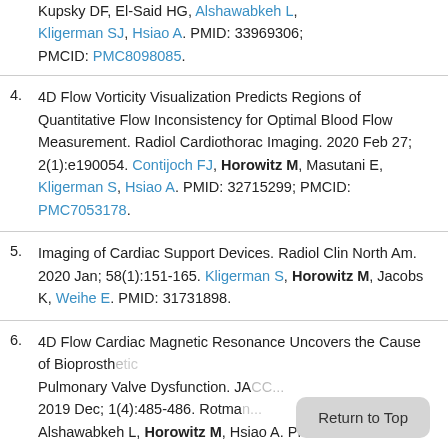Kupsky DF, El-Said HG, Alshawabkeh L, Kligerman SJ, Hsiao A. PMID: 33969306; PMCID: PMC8098085.
4. 4D Flow Vorticity Visualization Predicts Regions of Quantitative Flow Inconsistency for Optimal Blood Flow Measurement. Radiol Cardiothorac Imaging. 2020 Feb 27; 2(1):e190054. Contijoch FJ, Horowitz M, Masutani E, Kligerman S, Hsiao A. PMID: 32715299; PMCID: PMC7053178.
5. Imaging of Cardiac Support Devices. Radiol Clin North Am. 2020 Jan; 58(1):151-165. Kligerman S, Horowitz M, Jacobs K, Weihe E. PMID: 31731898.
6. 4D Flow Cardiac Magnetic Resonance Uncovers the Cause of Bioprosthetic Pulmonary Valve Dysfunction. JACC... 2019 Dec; 1(4):485-486. Rotman... Alshawabkeh L, Horowitz M, Hsiao A. PMID: